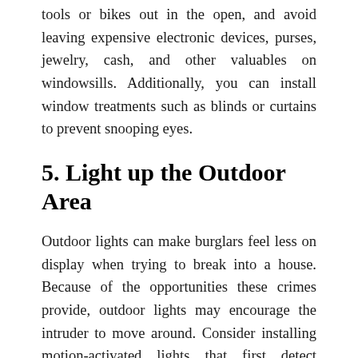tools or bikes out in the open, and avoid leaving expensive electronic devices, purses, jewelry, cash, and other valuables on windowsills. Additionally, you can install window treatments such as blinds or curtains to prevent snooping eyes.
5. Light up the Outdoor Area
Outdoor lights can make burglars feel less on display when trying to break into a house. Because of the opportunities these crimes provide, outdoor lights may encourage the intruder to move around. Consider installing motion-activated lights that first detect movement and then illuminate your yard when they detect it rather than having them on all the time. Intruders will be caught off-guard by the